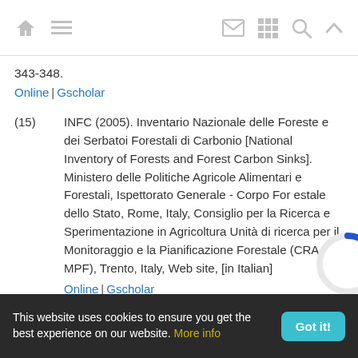Navigation bar with home, menu, mail, grid, search, and up icons
343-348.
Online | Gscholar
(15) INFC (2005). Inventario Nazionale delle Foreste e dei Serbatoi Forestali di Carbonio [National Inventory of Forests and Forest Carbon Sinks]. Ministero delle Politiche Agricole Alimentari e Forestali, Ispettorato Generale - Corpo Forestale dello Stato, Rome, Italy, Consiglio per la Ricerca e Sperimentazione in Agricoltura Unità di ricerca per il Monitoraggio e la Pianificazione Forestale (CRA-MPF), Trento, Italy, Web site, [in Italian]
Online | Gscholar
This website uses cookies to ensure you get the best experience on our website. More info | Got it!